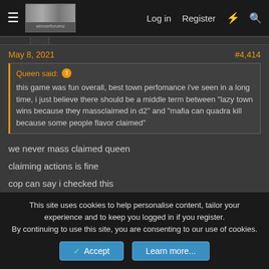Log in  Register
May 8, 2021   #4,414
Queen said: ↑
this game was fun overall, best town perfomance i've seen in a long time, i just believe there should be a middle term between "lazy town wins because they massclaimed in d2" and "mafia can quadra kill because some people flavor claimed"
we never mass claimed queen
claiming actions is fine
cop can say i checked this
This site uses cookies to help personalise content, tailor your experience and to keep you logged in if you register.
By continuing to use this site, you are consenting to our use of cookies.